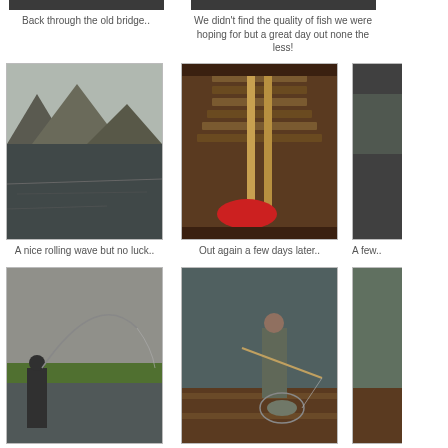[Figure (photo): Photo stub - back through old bridge (partially visible at top)]
Back through the old bridge..
[Figure (photo): Photo stub - fishing scene partially visible at top]
We didn't find the quality of fish we were hoping for but a great day out none the less!
[Figure (photo): A mountain scene with a lake in the foreground, grey sky]
A nice rolling wave but no luck..
[Figure (photo): Inside of a wooden boat with oars visible, looking forward]
Out again a few days later..
[Figure (photo): Partial photo at right edge - partially cut off]
A few..
[Figure (photo): Person fly fishing, rod bent in arc, water and green bank in background]
First drift on Corrib
[Figure (photo): Person in a boat netting a fish, another person holding a rod]
In the net..
[Figure (photo): Partial photo at right edge cut off]